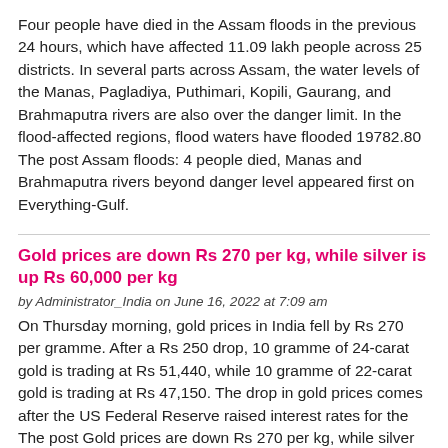Four people have died in the Assam floods in the previous 24 hours, which have affected 11.09 lakh people across 25 districts. In several parts across Assam, the water levels of the Manas, Pagladiya, Puthimari, Kopili, Gaurang, and Brahmaputra rivers are also over the danger limit. In the flood-affected regions, flood waters have flooded 19782.80 The post Assam floods: 4 people died, Manas and Brahmaputra rivers beyond danger level appeared first on Everything-Gulf.
Gold prices are down Rs 270 per kg, while silver is up Rs 60,000 per kg
by Administrator_India on June 16, 2022 at 7:09 am
On Thursday morning, gold prices in India fell by Rs 270 per gramme. After a Rs 250 drop, 10 gramme of 24-carat gold is trading at Rs 51,440, while 10 gramme of 22-carat gold is trading at Rs 47,150. The drop in gold prices comes after the US Federal Reserve raised interest rates for the The post Gold prices are down Rs 270 per kg, while silver